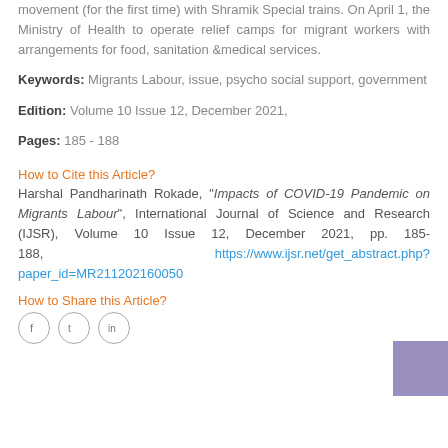movement (for the first time) with Shramik Special trains. On April 1, the Ministry of Health to operate relief camps for migrant workers with arrangements for food, sanitation &medical services.
Keywords: Migrants Labour, issue, psycho social support, government
Edition: Volume 10 Issue 12, December 2021,
Pages: 185 - 188
How to Cite this Article?
Harshal Pandharinath Rokade, "Impacts of COVID-19 Pandemic on Migrants Labour", International Journal of Science and Research (IJSR), Volume 10 Issue 12, December 2021, pp. 185-188, https://www.ijsr.net/get_abstract.php?paper_id=MR211202160050
How to Share this Article?